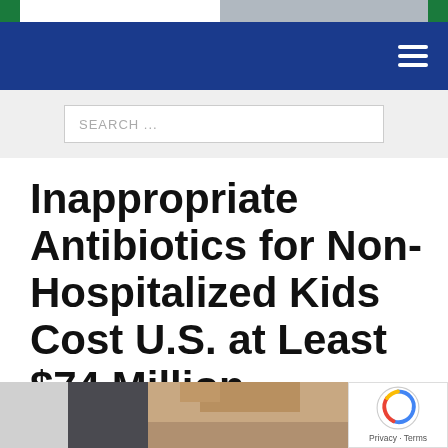[Figure (screenshot): Website header with green square logo, partial image strip, dark blue navigation bar with hamburger menu icon, and search bar with placeholder text 'SEARCH ...']
Inappropriate Antibiotics for Non-Hospitalized Kids Cost U.S. at Least $74 Million
[Figure (photo): Partial photo of a person with blonde hair, likely a medical professional or patient, cut off at bottom of page. A reCAPTCHA badge appears in the lower right corner with Privacy - Terms text.]